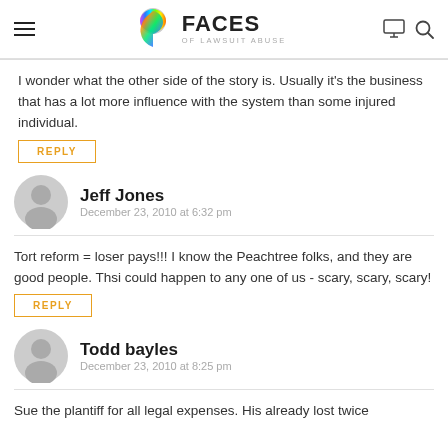Faces of Lawsuit Abuse
I wonder what the other side of the story is. Usually it's the business that has a lot more influence with the system than some injured individual.
REPLY
Jeff Jones
December 23, 2010 at 6:32 pm
Tort reform = loser pays!!! I know the Peachtree folks, and they are good people. Thsi could happen to any one of us - scary, scary, scary!
REPLY
Todd bayles
December 23, 2010 at 8:25 pm
Sue the plantiff for all legal expenses. His already lost twice